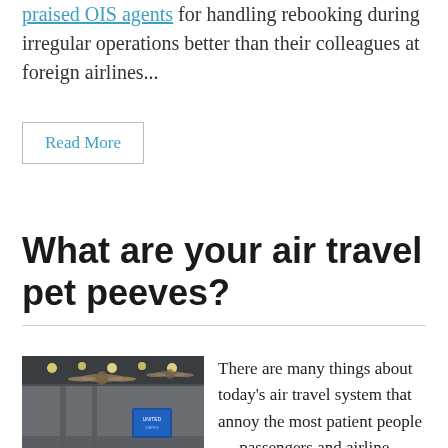praised OIS agents for handling rebooking during irregular operations better than their colleagues at foreign airlines...
Read More
What are your air travel pet peeves?
[Figure (photo): Interior of an airport terminal with travelers walking around, suspended decorative aircraft models hanging from the ceiling, and a blue display sign in the background.]
There are many things about today’s air travel system that annoy the most patient people — passengers and airline employees alike. It’s easy to